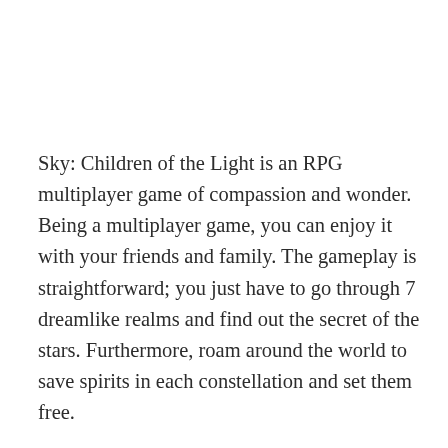Sky: Children of the Light is an RPG multiplayer game of compassion and wonder. Being a multiplayer game, you can enjoy it with your friends and family. The gameplay is straightforward; you just have to go through 7 dreamlike realms and find out the secret of the stars. Furthermore, roam around the world to save spirits in each constellation and set them free.
The game allows you to get help from your friends to save the spirits of the sky realm. Overall, it is an MMORPG that is going to uplift your social adventure